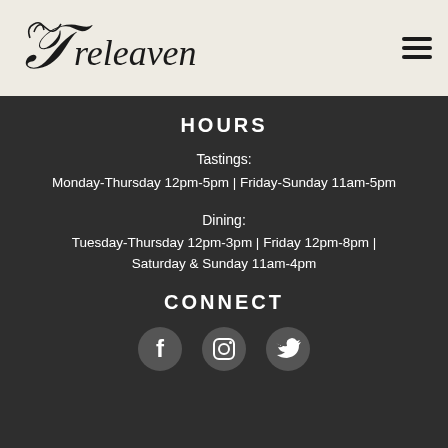[Figure (logo): Treleaven winery script logo in black cursive on beige background]
HOURS
Tastings:
Monday-Thursday 12pm-5pm | Friday-Sunday 11am-5pm
Dining:
Tuesday-Thursday 12pm-3pm | Friday 12pm-8pm | Saturday & Sunday 11am-4pm
CONNECT
[Figure (illustration): Three social media icons: Facebook, Instagram, Twitter in white circles]